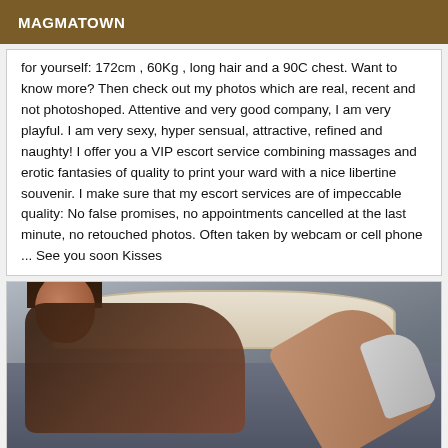MAGMATOWN
for yourself: 172cm , 60Kg , long hair and a 90C chest. Want to know more? Then check out my photos which are real, recent and not photoshoped. Attentive and very good company, I am very playful. I am very sexy, hyper sensual, attractive, refined and naughty! I offer you a VIP escort service combining massages and erotic fantasies of quality to print your ward with a nice libertine souvenir. I make sure that my escort services are of impeccable quality: No false promises, no appointments cancelled at the last minute, no retouched photos. Often taken by webcam or cell phone ... See you soon Kisses
[Figure (photo): A woman with dark/brown hair posing on a bed with a white ornate headboard, wearing dark clothing, with legs raised showing high-heeled shoes, photographed in a studio-like setting with grey/blue background.]